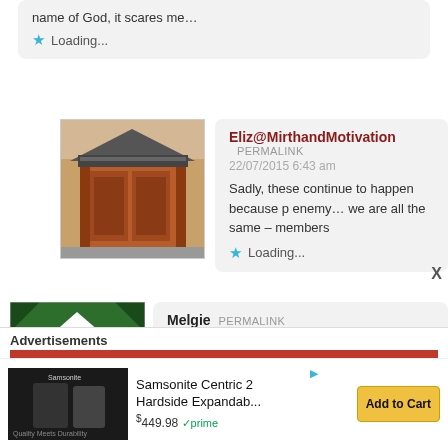name of God, it scares me…
★ Loading...
[Figure (photo): Photo of a Japanese temple gate with orange/red wooden doors and traditional tiled roof]
Eliz@MirthandMotivation  PERMALINK
22/07/2015 6:43 am
Sadly, these continue to happen because p enemy… we are all the same – members
★ Loading...
[Figure (illustration): Green and white geometric diamond pattern avatar placeholder]
Melgie  PERMALINK
27/08/2015 4:48 am
Advertisements
[Figure (screenshot): Ad for Samsonite Centric 2 Hardside Expandab... $449.98 prime, Add to Cart button]